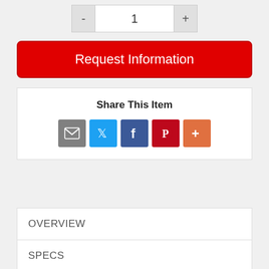- 1 +
Request Information
Share This Item
[Figure (infographic): Social share icons: Email (grey), Twitter (blue), Facebook (blue), Pinterest (red), More (orange-red)]
OVERVIEW
SPECS
VIDEOS